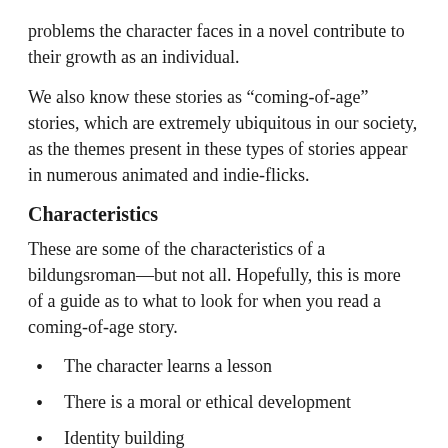problems the character faces in a novel contribute to their growth as an individual.
We also know these stories as “coming-of-age” stories, which are extremely ubiquitous in our society, as the themes present in these types of stories appear in numerous animated and indie-flicks.
Characteristics
These are some of the characteristics of a bildungsroman—but not all. Hopefully, this is more of a guide as to what to look for when you read a coming-of-age story.
The character learns a lesson
There is a moral or ethical development
Identity building
Losing one’s innocence
Aims to perform a kind...